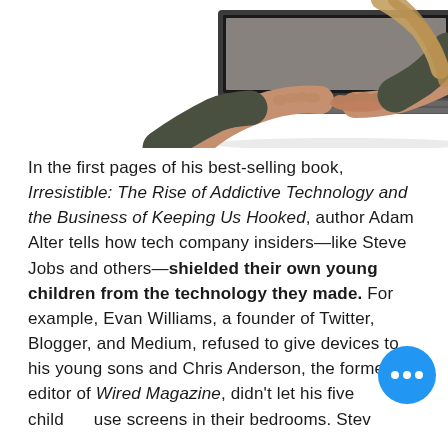[Figure (photo): Person typing on a laptop, hands and arms visible, wearing a dark long-sleeve top, white background, photo cropped at top showing upper portion of laptop and hands]
In the first pages of his best-selling book, Irresistible: The Rise of Addictive Technology and the Business of Keeping Us Hooked, author Adam Alter tells how tech company insiders—like Steve Jobs and others—shielded their own young children from the technology they made. For example, Evan Williams, a founder of Twitter, Blogger, and Medium, refused to give devices to his young sons and Chris Anderson, the former editor of Wired Magazine, didn't let his five children use screens in their bedrooms. Steve